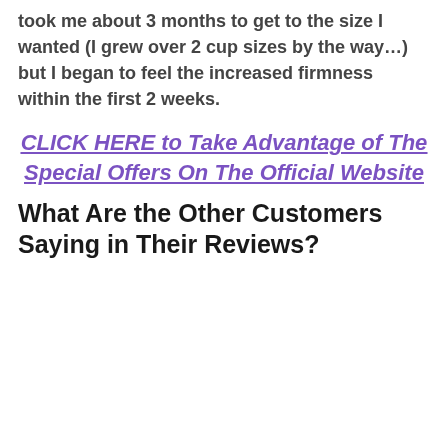took me about 3 months to get to the size I wanted (I grew over 2 cup sizes by the way…) but I began to feel the increased firmness within the first 2 weeks.
CLICK HERE to Take Advantage of The Special Offers On The Official Website
What Are the Other Customers Saying in Their Reviews?